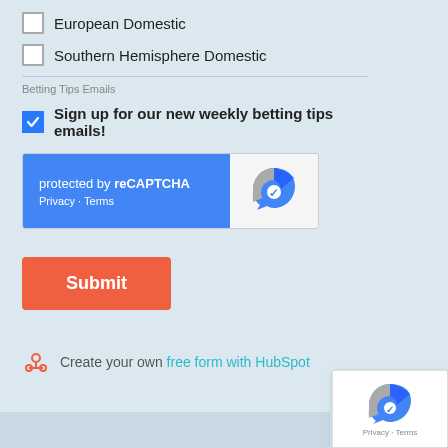European Domestic
Southern Hemisphere Domestic
Betting Tips Emails
Sign up for our new weekly betting tips emails!
[Figure (other): reCAPTCHA widget with blue left panel showing 'protected by reCAPTCHA' and Privacy - Terms links, and grey right panel with reCAPTCHA logo]
Submit
Create your own free form with HubSpot
[Figure (other): reCAPTCHA popup badge with logo and Privacy - Terms text]